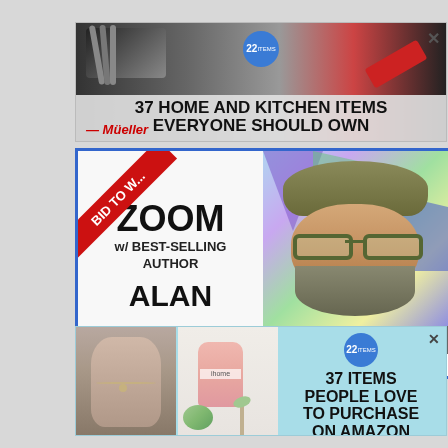[Figure (infographic): Top advertisement banner: '37 HOME AND KITCHEN ITEMS EVERYONE SHOULD OWN' with Mueller branding and kitchen tools photo. Blue badge with '22'. X close button.]
[Figure (infographic): Middle advertisement: 'BID TO WIN' ribbon, 'ZOOM w/ BEST-SELLING AUTHOR ALAN GRATZ' with photo of bearded man with hat and glasses. Text: 'Meet him with your school, school district, or writer's group! Proceeds benefit TABC Book Drop (Writer's Cubed, a 501c3'. CLOSE button.]
[Figure (infographic): Bottom advertisement banner: '37 ITEMS PEOPLE LOVE TO PURCHASE ON AMAZON' with blue badge '22', X close button, and product photos.]